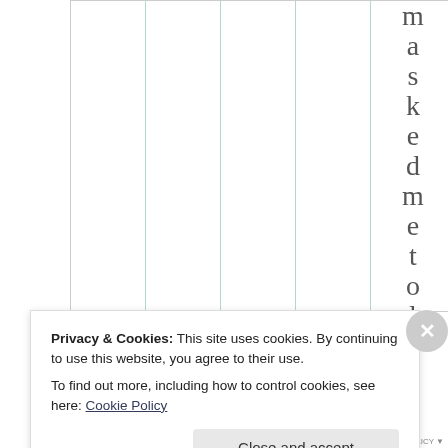[Figure (other): Partial table with vertical teal/green column dividers on white background. On the right side, vertical rotated text spelling out 'maskedmetol' letter by letter, each character on a separate line. The table columns are empty/white.]
Privacy & Cookies: This site uses cookies. By continuing to use this website, you agree to their use.
To find out more, including how to control cookies, see here: Cookie Policy
Close and accept